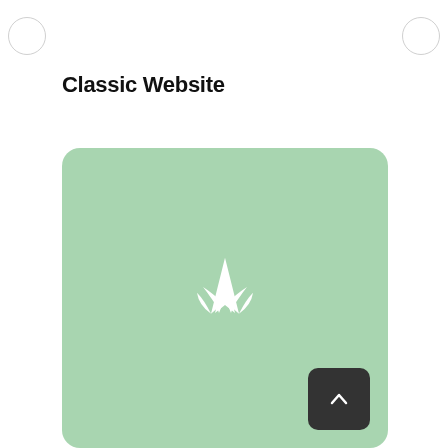Classic Website
[Figure (illustration): A rounded rectangle card with a sage/mint green background color containing a white stylized logo mark (resembling the letter A or a sailboat/navigation symbol) centered in the upper portion of the card. A dark grey rounded square button with a white upward chevron arrow is positioned in the bottom-right corner of the card.]